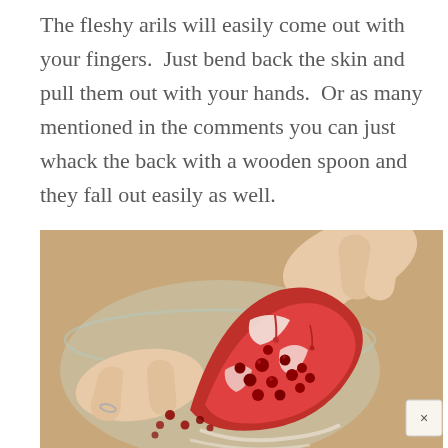The fleshy arils will easily come out with your fingers.  Just bend back the skin and pull them out with your hands.  Or as many mentioned in the comments you can just whack the back with a wooden spoon and they fall out easily as well.
[Figure (photo): A hand holding a bent-back pomegranate section over a bowl, showing red arils and white pith exposed. A wooden surface is visible in the background. There is a small close (X) button overlay at the bottom right of the image.]